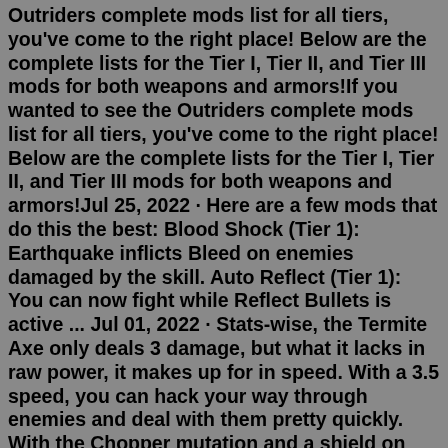Outriders complete mods list for all tiers, you've come to the right place! Below are the complete lists for the Tier I, Tier II, and Tier III mods for both weapons and armors!If you wanted to see the Outriders complete mods list for all tiers, you've come to the right place! Below are the complete lists for the Tier I, Tier II, and Tier III mods for both weapons and armors!Jul 25, 2022 · Here are a few mods that do this the best: Blood Shock (Tier 1): Earthquake inflicts Bleed on enemies damaged by the skill. Auto Reflect (Tier 1): You can now fight while Reflect Bullets is active ... Jul 01, 2022 · Stats-wise, the Termite Axe only deals 3 damage, but what it lacks in raw power, it makes up for in speed. With a 3.5 speed, you can hack your way through enemies and deal with them pretty quickly. With the Chopper mutation and a shield on your other hand, the Termite Axe is surely a powerful weapon you'd like to consider in the early game. All 46 Legendary Weapons In Outriders Become A MEMBER Of The Channel -